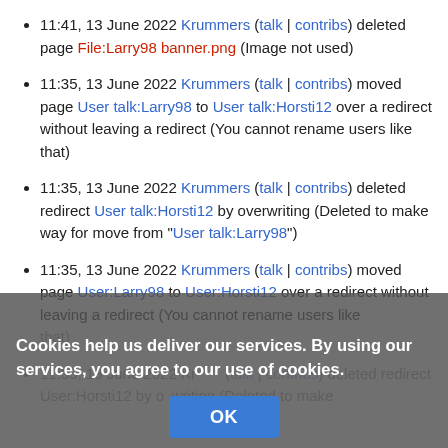11:41, 13 June 2022 Krummers (talk | contribs) deleted page File:Larry98 banner.png (Image not used)
11:35, 13 June 2022 Krummers (talk | contribs) moved page User talk:Larry98 to User talk:Horsti12 over a redirect without leaving a redirect (You cannot rename users like that)
11:35, 13 June 2022 Krummers (talk | contribs) deleted redirect User talk:Horsti12 by overwriting (Deleted to make way for move from "User talk:Larry98")
11:35, 13 June 2022 Krummers (talk | contribs) moved page User:Larry98 to User:Horsti12 over a redirect without leaving a redirect (You cannot rename users like that)
11:35, 13 June 2022 Krummers (talk | contribs) deleted redirect User:Horsti12 by overwriting (Deleted to make
Cookies help us deliver our services. By using our services, you agree to our use of cookies.